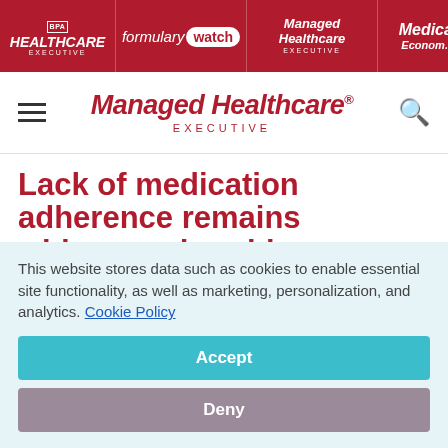HEALTHCARE EXECUTIVE | formulary watch | Managed Healthcare EXECUTIVE | Medical Economics
Managed Healthcare EXECUTIVE
Lack of medication adherence remains widespread problem
July 1, 2010
This website stores data such as cookies to enable essential site functionality, as well as marketing, personalization, and analytics. Cookie Policy
Accept
Deny